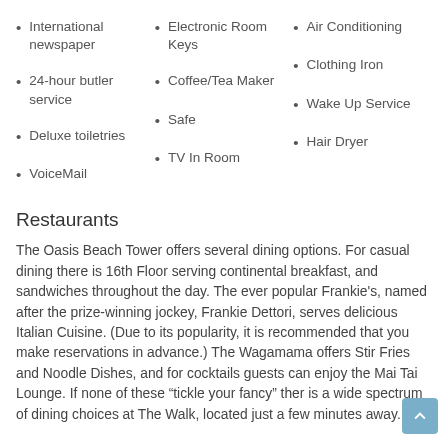International newspaper
Electronic Room Keys
Air Conditioning
24-hour butler service
Coffee/Tea Maker
Clothing Iron
Deluxe toiletries
Safe
Wake Up Service
VoiceMail
TV In Room
Hair Dryer
Restaurants
The Oasis Beach Tower offers several dining options. For casual dining there is 16th Floor serving continental breakfast, and sandwiches throughout the day. The ever popular Frankie's, named after the prize-winning jockey, Frankie Dettori, serves delicious Italian Cuisine. (Due to its popularity, it is recommended that you make reservations in advance.) The Wagamama offers Stir Fries and Noodle Dishes, and for cocktails guests can enjoy the Mai Tai Lounge. If none of these “tickle your fancy” ther is a wide spectrum of dining choices at The Walk, located just a few minutes away.